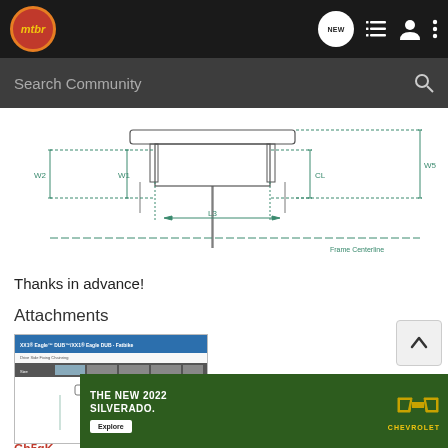mtbr — navigation bar with NEW, list, user, menu icons
Search Community
[Figure (engineering-diagram): Technical engineering diagram showing top view of a bicycle bottom bracket shell with labeled dimensions: W2, W1, L3, CL, W5, and Frame Centerline, with measurement arrows in green/teal lines]
Thanks in advance!
Attachments
[Figure (screenshot): Thumbnail of a SRAM XX1 Eagle DUB technical specification document showing a table and engineering diagram]
Gh5gk...
[Figure (photo): Advertisement banner: The New 2022 Silverado by Chevrolet, showing a silver truck with Explore button and Chevrolet logo]